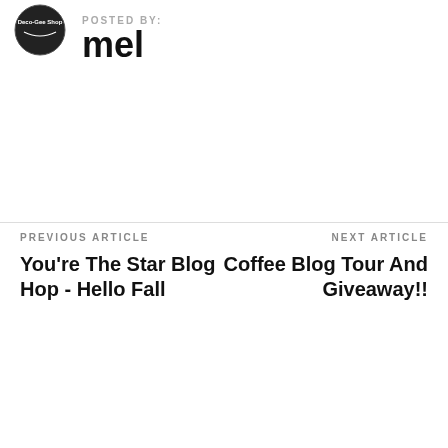[Figure (logo): Circular logo with dark background and text 'Deco-Get Stop' or similar blog logo]
POSTED BY:
mel
PREVIOUS ARTICLE
You're The Star Blog Hop - Hello Fall
NEXT ARTICLE
Coffee Blog Tour And Giveaway!!